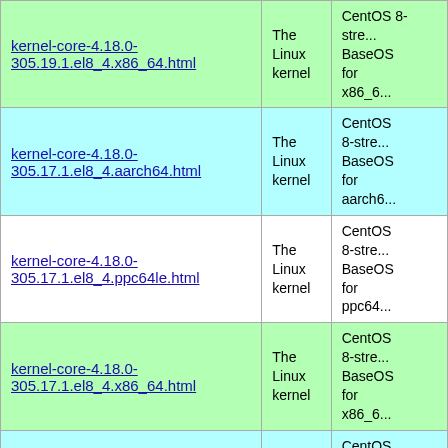| Package | Description1 | Description2 |
| --- | --- | --- |
| kernel-core-4.18.0-305.19.1.el8_4.x86_64.html | The Linux kernel | CentOS 8-stream BaseOS for x86_64 |
| kernel-core-4.18.0-305.17.1.el8_4.aarch64.html | The Linux kernel | CentOS 8-stream BaseOS for aarch64 |
| kernel-core-4.18.0-305.17.1.el8_4.ppc64le.html | The Linux kernel | CentOS 8-stream BaseOS for ppc64le |
| kernel-core-4.18.0-305.17.1.el8_4.x86_64.html | The Linux kernel | CentOS 8-stream BaseOS for x86_64 |
| kernel-core-4.18.0-305.12.1.el8_4.aarch64.html | The Linux kernel | CentOS 8-stream BaseOS for aarch64 |